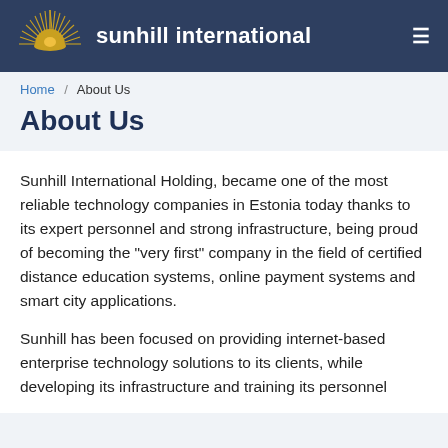sunhill international
Home / About Us
About Us
Sunhill International Holding, became one of the most reliable technology companies in Estonia today thanks to its expert personnel and strong infrastructure, being proud of becoming the "very first" company in the field of certified distance education systems, online payment systems and smart city applications.
Sunhill has been focused on providing internet-based enterprise technology solutions to its clients, while developing its infrastructure and training its personnel